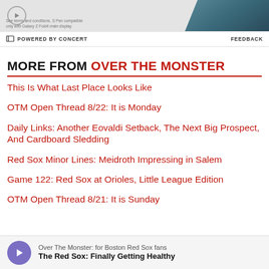[Figure (other): Advertisement banner with phone graphic and small terms text. Shows a play/arrow icon on left and smartphone image on right against grey background.]
POWERED BY CONCERT   FEEDBACK
MORE FROM OVER THE MONSTER
This Is What Last Place Looks Like
OTM Open Thread 8/22: It is Monday
Daily Links: Another Eovaldi Setback, The Next Big Prospect, And Cardboard Sledding
Red Sox Minor Lines: Meidroth Impressing in Salem
Game 122: Red Sox at Orioles, Little League Edition
OTM Open Thread 8/21: It is Sunday
[Figure (other): Podcast player bar at bottom. Purple circular play button on left. Text reads 'Over The Monster: for Boston Red Sox fans' and 'The Red Sox: Finally Getting Healthy']